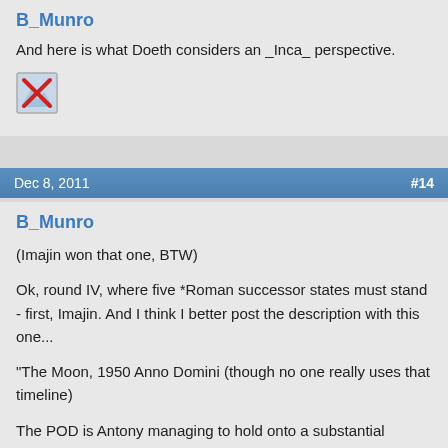B_Munro
And here is what Doeth considers an _Inca_ perspective.
[Figure (other): Broken image icon (red X on image placeholder)]
Dec 8, 2011   #14
B_Munro
(Imajin won that one, BTW)
Ok, round IV, where five *Roman successor states must stand - first, Imajin. And I think I better post the description with this one...
"The Moon, 1950 Anno Domini (though no one really uses that timeline)
The POD is Antony managing to hold onto a substantial dominion